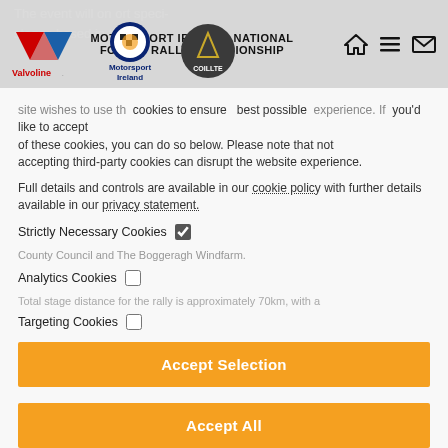MOTORSPORT IRELAND NATIONAL FOREST RALLY CHAMPIONSHIP
[Figure (logo): Valvoline logo (red and blue chevron)]
[Figure (logo): Motorsport Ireland logo]
[Figure (logo): Coillte logo (dark circle with triangle)]
This website wishes to use the cookies to ensure the best possible experience. If you'd like to accept all of these cookies, you can do so below. Please note that not accepting third-party cookies can disrupt the website experience.
Full details and controls are available in our cookie policy with further details available in our privacy statement.
Strictly Necessary Cookies
Analytics Cookies
Targeting Cookies
Accept Selection
Accept All